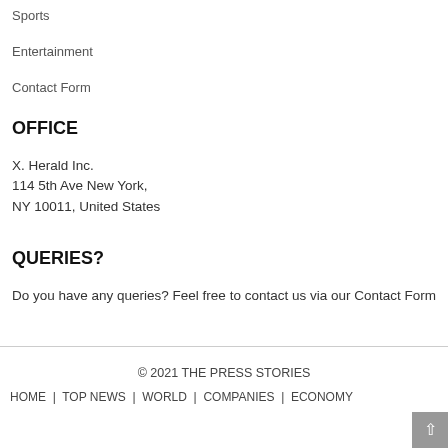Sports
Entertainment
Contact Form
OFFICE
X. Herald Inc.
114 5th Ave New York,
NY 10011, United States
QUERIES?
Do you have any queries? Feel free to contact us via our Contact Form
© 2021 THE PRESS STORIES
HOME | TOP NEWS | WORLD | COMPANIES | ECONOMY